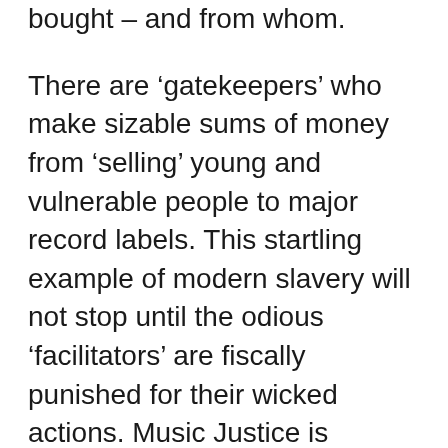bought – and from whom.
There are ‘gatekeepers’ who make sizable sums of money from ‘selling’ young and vulnerable people to major record labels. This startling example of modern slavery will not stop until the odious ‘facilitators’ are fiscally punished for their wicked actions. Music Justice is currently implementing plans to materially damage the ‘enablers’ who are always around when the money is initially being handed out, but are nowhere to be seen when people’s dreams, lives and careers lay in tatters later down the line. Money alone won’t solve all of the issues surrounding the music business, but since deceitful riches represents the single